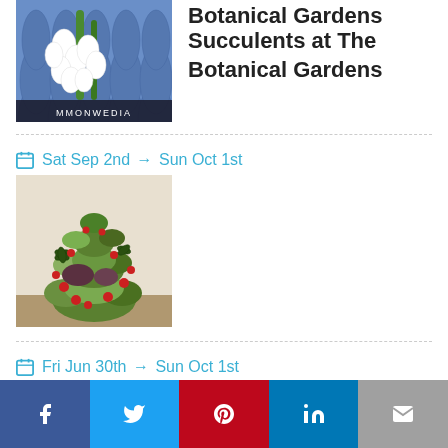[Figure (illustration): Lily of the valley art nouveau illustration with white flowers on blue decorative background]
Botanical Gardens
Sat Sep 2nd → Sun Oct 1st
[Figure (photo): Succulent plant arrangement shaped like a Christmas tree with red berry decorations]
Succulents at The Botanical Gardens
Fri Jun 30th → Sun Oct 1st
Facebook, Twitter, Pinterest, LinkedIn, Email share buttons